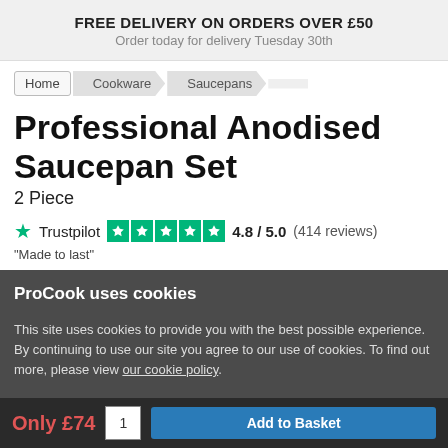FREE DELIVERY ON ORDERS OVER £50
Order today for delivery Tuesday 30th
Home > Cookware > Saucepans
Professional Anodised Saucepan Set
2 Piece
Trustpilot ★★★★★ 4.8 / 5.0 (414 reviews)
"Made to last"
ProCook uses cookies
This site uses cookies to provide you with the best possible experience. By continuing to use our site you agree to our use of cookies. To find out more, please view our cookie policy.
Only £74